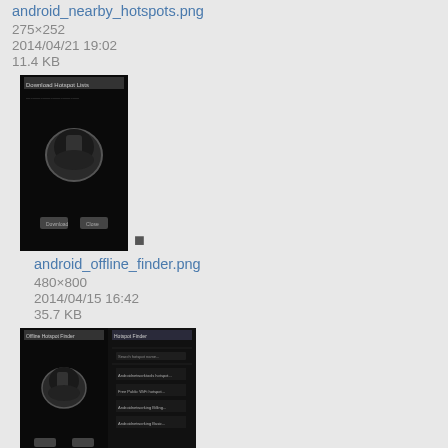android_nearby_hotspots.png
275×252
2014/04/21 19:02
11.4 KB
[Figure (screenshot): Android app screenshot showing Download Hotspot Lists dialog]
android_offline_finder.png
480×800
2014/04/15 16:42
35.7 KB
[Figure (screenshot): Android app screenshots showing Offline Hotspot Finder and Hotspot Finder screens side by side]
android_offline_hotspot_finder.png
479×436
2013/11/08 20:38
70.6 KB